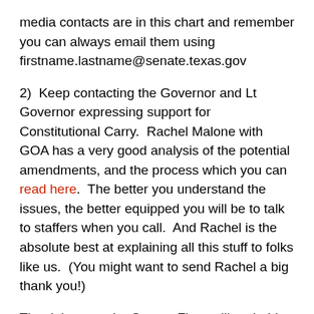media contacts are in this chart and remember you can always email them using firstname.lastname@senate.texas.gov
2)  Keep contacting the Governor and Lt Governor expressing support for Constitutional Carry.  Rachel Malone with GOA has a very good analysis of the potential amendments, and the process which you can read here.  The better you understand the issues, the better equipped you will be to talk to staffers when you call.  And Rachel is the absolute best at explaining all this stuff to folks like us.  (You might want to send Rachel a big thank you!)
The debate on the Senate Floor will probably happen next week.  Watch for news on when that is scheduled.  Contact YOUR Senator and make sure they know where you stand on Constitutional Carry.  Ask them to support HB1927 as is,